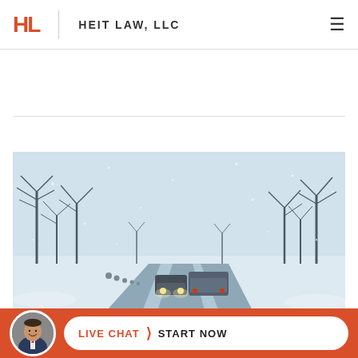[Figure (logo): Heit Law LLC logo with red HL letters and firm name]
[Figure (photo): Winter snowy road scene with cars driving on a snow-covered road lined with bare trees]
LIVE CHAT > START NOW